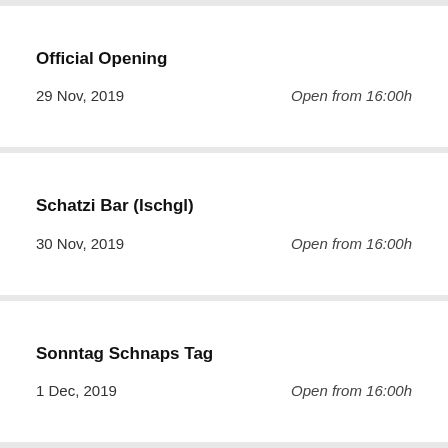Official Opening
29 Nov, 2019 Open from 16:00h
Schatzi Bar (Ischgl)
30 Nov, 2019 Open from 16:00h
Sonntag Schnaps Tag
1 Dec, 2019 Open from 16:00h